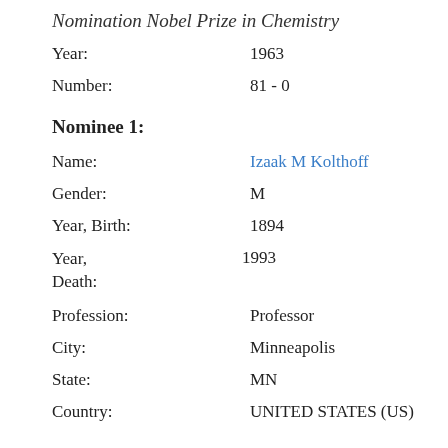Nomination Nobel Prize in Chemistry
Year: 1963
Number: 81 - 0
Nominee 1:
Name: Izaak M Kolthoff
Gender: M
Year, Birth: 1894
Year, Death: 1993
Profession: Professor
City: Minneapolis
State: MN
Country: UNITED STATES (US)